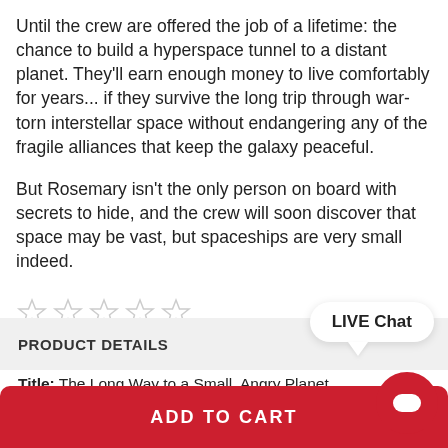Until the crew are offered the job of a lifetime: the chance to build a hyperspace tunnel to a distant planet. They'll earn enough money to live comfortably for years... if they survive the long trip through war-torn interstellar space without endangering any of the fragile alliances that keep the galaxy peaceful.
But Rosemary isn't the only person on board with secrets to hide, and the crew will soon discover that space may be vast, but spaceships are very small indeed.
☆☆☆☆☆   Write a review
PRODUCT DETAILS
Title: The Long Way to a Small, Angry Planet
ADD TO CART